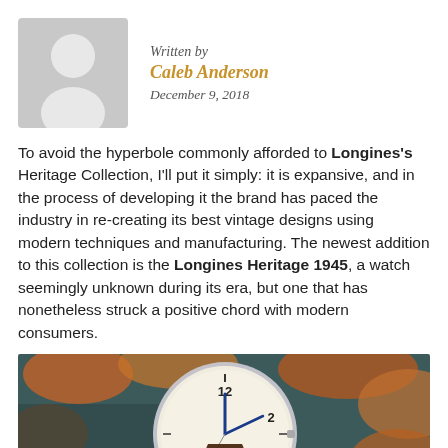Written by
Caleb Anderson
December 9, 2018
To avoid the hyperbole commonly afforded to Longines's Heritage Collection, I'll put it simply: it is expansive, and in the process of developing it the brand has paced the industry in re-creating its best vintage designs using modern techniques and manufacturing. The newest addition to this collection is the Longines Heritage 1945, a watch seemingly unknown during its era, but one that has nonetheless struck a positive chord with modern consumers.
[Figure (photo): Close-up photo of a Longines Heritage 1945 watch with a cream dial showing 12, 2, and 10 numerals, blue hands, and a brown leather strap, set against an autumn leaves background.]